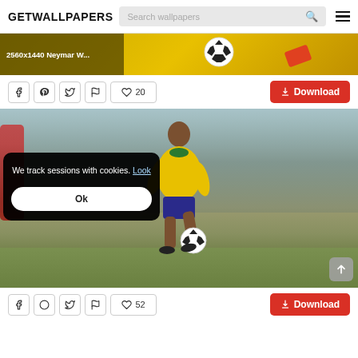GETWALLPAPERS — Search wallpapers
[Figure (screenshot): Partial banner image showing a soccer/football themed wallpaper with golden background and a soccer ball. Label reads '2560x1440 Neymar W...']
2560x1440 Neymar W...
♥ 20  Download
[Figure (photo): Photo of Pelé in yellow Brazil jersey kicking a soccer ball, crowd in background, vintage sports photo]
We track sessions with cookies. Look
Ok
♥ 52  Download